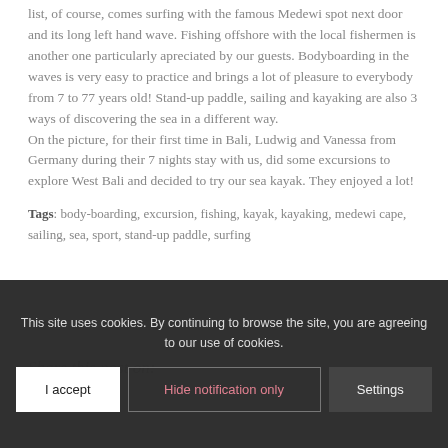list, of course, comes surfing with the famous Medewi spot next door and its long left hand wave. Fishing offshore with the local fishermen is another one particularly apreciated by our guests. Bodyboarding in the waves is very easy to practice and brings a lot of pleasure to everybody from 7 to 77 years old! Stand-up paddle, sailing and kayaking are also 3 ways of discovering the sea in a different way.
On the picture, for their first time in Bali, Ludwig and Vanessa from Germany during their 7 nights stay with us, did some excursions to explore West Bali and decided to try our sea kayak. They enjoyed a lot!
Tags: body-boarding, excursion, fishing, kayak, kayaking, medewi cape, sailing, sea, sport, stand-up paddle, surfing
Share this post on:
This site uses cookies. By continuing to browse the site, you are agreeing to our use of cookies.